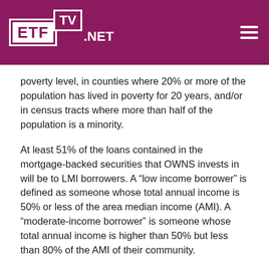ETF TV .NET
poverty level, in counties where 20% or more of the population has lived in poverty for 20 years, and/or in census tracts where more than half of the population is a minority.
At least 51% of the loans contained in the mortgage-backed securities that OWNS invests in will be to LMI borrowers. A “low income borrower” is defined as someone whose total annual income is 50% or less of the area median income (AMI). A “moderate-income borrower” is someone whose total annual income is higher than 50% but less than 80% of the AMI of their community.
OWNS also can invest in mortgage-backed securities with loans that are sourced from Community Development Financial Institutions as well as minority-owned banks.